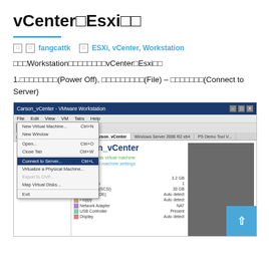vCenter　Esxi
fangcattk  　 ESXi, vCenter, Workstation
Workstation　　　　　　vCenter　Esxi
1.　　　　　　(Power Off), 　　　　　　　　(File) – 　　　　　　(Connect to Server)
[Figure (screenshot): VMware Workstation screenshot showing the File menu open with 'Connect to Server...' option highlighted, and the Carson_vCenter virtual machine details panel visible on the right with device list including Memory 3.2 GB, Processors 1, Hard Disk (SCSI) 30 GB, CD/DVD (IDE) Auto detect, Floppy Auto detect, Network Adapter NAT, USB Controller Present, Display Auto detect.]